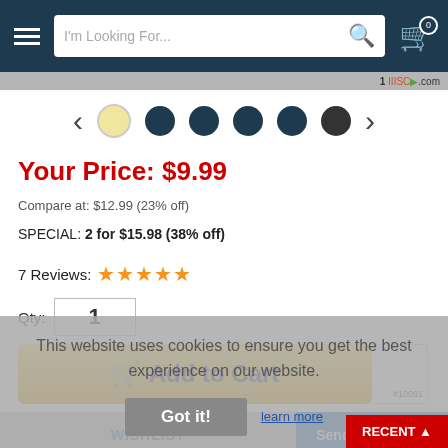I'm Looking For... [search bar] [cart icon 0]
[Figure (screenshot): Carousel navigation with left/right arrows and 6 dots (first dot active/light, rest dark navy)]
Your Price: $9.99
Compare at: $12.99 (23% off)
SPECIAL: 2 for $15.98 (38% off)
7 Reviews: ★★★★★
Qty: 1
[Figure (screenshot): Add to Cart button (gold/yellow gradient) with shopping cart icon and text 'Add to Cart', item #10091]
This website uses cookies to ensure you get the best experience on our website.
Got it!
By continuing on to this site you are stating you understand we collect cookies.
WISHLIST
Send A Question
Save EVEN MORE when you buy more!
Get one for $9.99
Save $4.00 and get two for $15.98
Save $6.00 and get three for $23.97
Save $8.00 and get four for $31.96
Save $10.00 and get five for $39.95
RECENT ▲